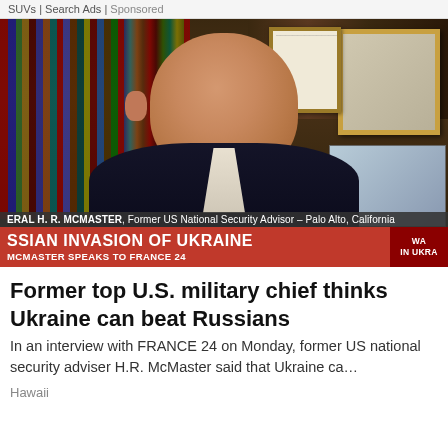SUVs | Search Ads | Sponsored
[Figure (photo): TV news screenshot showing H.R. McMaster, former US National Security Advisor, speaking from Palo Alto, California, with a bookshelf background. Red breaking news banner reads 'RUSSIAN INVASION OF UKRAINE / McMaster SPEAKS TO FRANCE 24'. Name chyron reads 'GENERAL H. R. MCMASTER, Former US National Security Advisor – Palo Alto, California'.]
Former top U.S. military chief thinks Ukraine can beat Russians
In an interview with FRANCE 24 on Monday, former US national security adviser H.R. McMaster said that Ukraine ca…
Hawaii